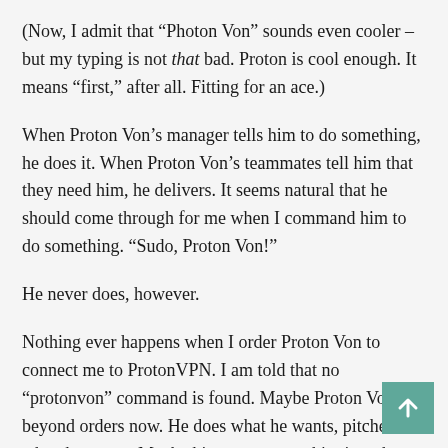(Now, I admit that “Photon Von” sounds even cooler – but my typing is not that bad. Proton is cool enough. It means “first,” after all. Fitting for an ace.)
When Proton Von’s manager tells him to do something, he does it. When Proton Von’s teammates tell him that they need him, he delivers. It seems natural that he should come through for me when I command him to do something. “Sudo, Proton Von!”
He never does, however.
Nothing ever happens when I order Proton Von to connect me to ProtonVPN. I am told that no “protonvon” command is found. Maybe Proton Von is beyond orders now. He does what he wants, pitches when he wants. Maybe his manager ran him into the ground in high school. Too many 150-pitch outings every third day. Burned out. Greatness waxed brilliantly, but ephemerally.